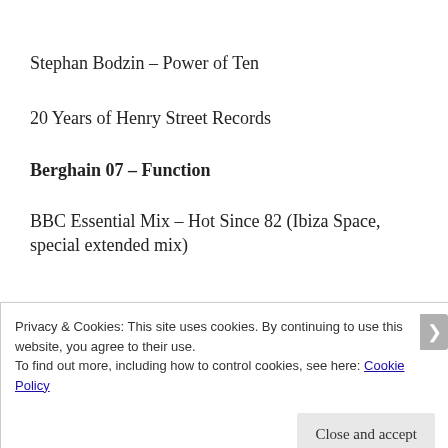Stephan Bodzin – Power of Ten
20 Years of Henry Street Records
Berghain 07 – Function
BBC Essential Mix – Hot Since 82 (Ibiza Space, special extended mix)
Privacy & Cookies: This site uses cookies. By continuing to use this website, you agree to their use.
To find out more, including how to control cookies, see here: Cookie Policy
Close and accept